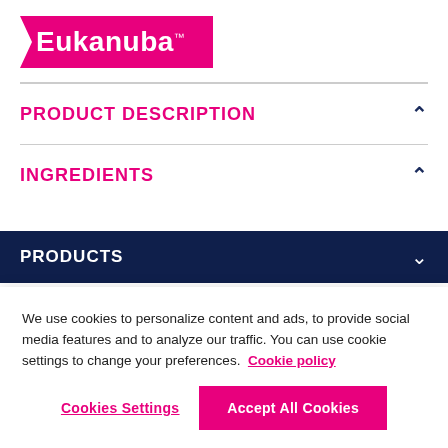[Figure (logo): Eukanuba brand logo — white text on pink/magenta chevron banner]
PRODUCT DESCRIPTION
INGREDIENTS
PRODUCTS
We use cookies to personalize content and ads, to provide social media features and to analyze our traffic. You can use cookie settings to change your preferences. Cookie policy
Cookies Settings
Accept All Cookies